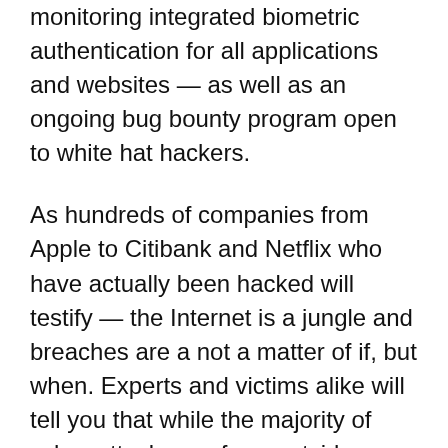monitoring integrated biometric authentication for all applications and websites — as well as an ongoing bug bounty program open to white hat hackers.
As hundreds of companies from Apple to Citibank and Netflix who have actually been hacked will testify — the Internet is a jungle and breaches are a not a matter of if, but when. Experts and victims alike will tell you that while the majority of cyber-attacks are from outside — it's the insider threat that causes the most damage.